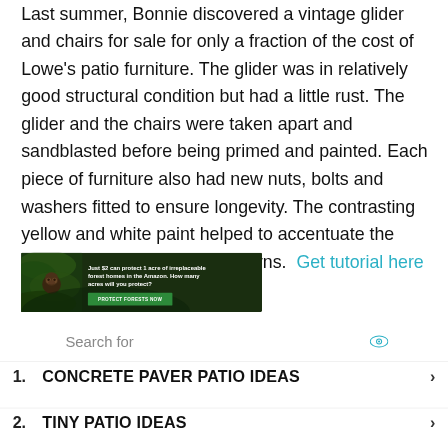Last summer, Bonnie discovered a vintage glider and chairs for sale for only a fraction of the cost of Lowe's patio furniture. The glider was in relatively good structural condition but had a little rust. The glider and the chairs were taken apart and sandblasted before being primed and painted. Each piece of furniture also had new nuts, bolts and washers fitted to ensure longevity. The contrasting yellow and white paint helped to accentuate the wonderful basket-weave patterns.  Get tutorial here
[Figure (infographic): Advertisement banner with dark forest background and monkey image. Text reads: 'Just $2 can protect 1 acre of irreplaceable forest homes in the Amazon. How many acres will you protect?' with a green 'PROTECT FORESTS NOW' button.]
Search for
1. CONCRETE PAVER PATIO IDEAS ›
2. TINY PATIO IDEAS ›
Ad | Business Focus